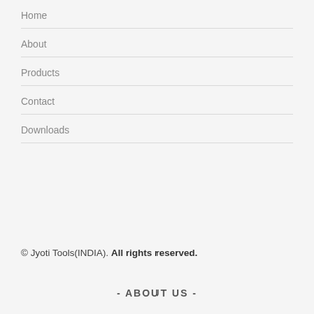Home
About
Products
Contact
Downloads
© Jyoti Tools(INDIA). All rights reserved.
- ABOUT US -